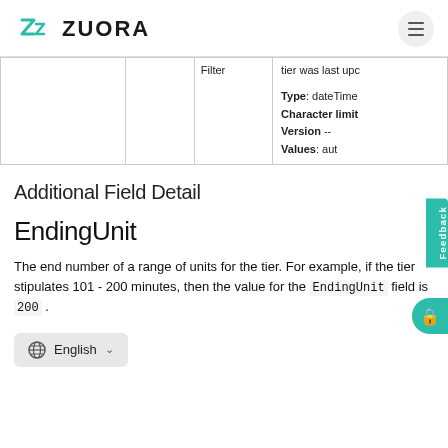ZUORA
|  |  | Filter | tier was last upc... |
| --- | --- | --- | --- |
|  |  |  | Type: dateTime
Character limit
Version --
Values: aut... |
Additional Field Detail
EndingUnit
The end number of a range of units for the tier. For example, if the tier stipulates 101 - 200 minutes, then the value for the EndingUnit field is 200 .